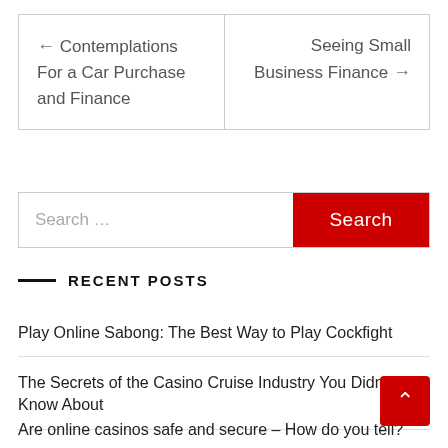← Contemplations For a Car Purchase and Finance
Seeing Small Business Finance →
Search ...
RECENT POSTS
Play Online Sabong: The Best Way to Play Cockfight
The Secrets of the Casino Cruise Industry You Didn't Know About
Are online casinos safe and secure – How do you tell?